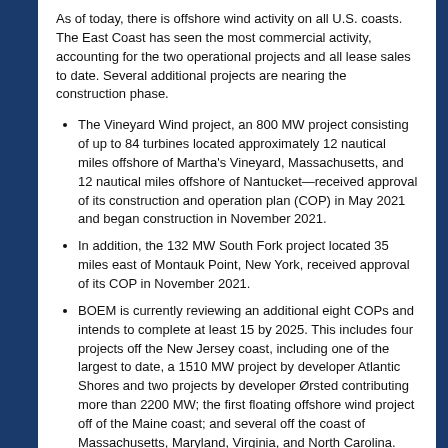As of today, there is offshore wind activity on all U.S. coasts. The East Coast has seen the most commercial activity, accounting for the two operational projects and all lease sales to date. Several additional projects are nearing the construction phase.
The Vineyard Wind project, an 800 MW project consisting of up to 84 turbines located approximately 12 nautical miles offshore of Martha's Vineyard, Massachusetts, and 12 nautical miles offshore of Nantucket—received approval of its construction and operation plan (COP) in May 2021 and began construction in November 2021.
In addition, the 132 MW South Fork project located 35 miles east of Montauk Point, New York, received approval of its COP in November 2021.
BOEM is currently reviewing an additional eight COPs and intends to complete at least 15 by 2025. This includes four projects off the New Jersey coast, including one of the largest to date, a 1510 MW project by developer Atlantic Shores and two projects by developer Ørsted contributing more than 2200 MW; the first floating offshore wind project off of the Maine coast; and several off the coast of Massachusetts, Maryland, Virginia, and North Carolina.
On the West Coast, three wind energy areas have been identified off California's coast with at least seven companies interested in developing floating offshore wind